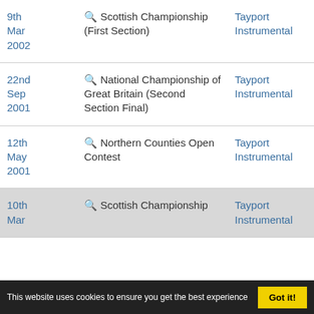| Date | Contest | Band | Position |
| --- | --- | --- | --- |
| 9th Mar 2002 | 🔍 Scottish Championship (First Section) | Tayport Instrumental | 5 |
| 22nd Sep 2001 | 🔍 National Championship of Great Britain (Second Section Final) | Tayport Instrumental | 15 |
| 12th May 2001 | 🔍 Northern Counties Open Contest | Tayport Instrumental | 6 |
| 10th Mar ... | 🔍 Scottish Championship | Tayport Instrumental | 2 |
This website uses cookies to ensure you get the best experience